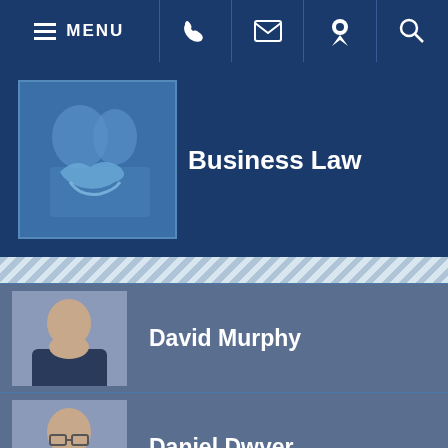MENU navigation bar with phone, email, location, and search icons
Business Law
David Murphy
Daniel Dwyer
William Anderson
Bobbi Madonna